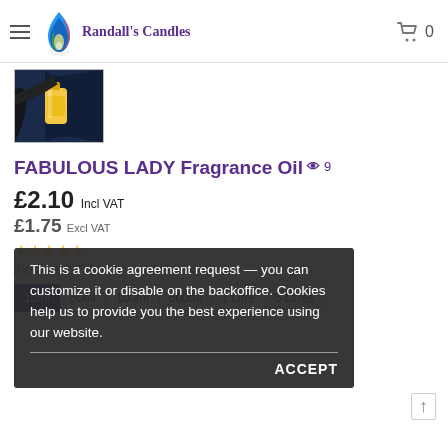Randall's Candles — navigation header with logo, hamburger menu, cart icon showing 0
[Figure (photo): Product thumbnail image showing a yellow perfume bottle against dark background with a person in black]
FABULOUS LADY Fragrance Oil  9
£2.10 Incl VAT
£1.75 Excl VAT
★★★★★
AVAILABILITY: In stock ( 446 item(s) )
This is a cookie agreement request — you can customize it or disable on the backoffice. Cookies help us to provide you the best experience using our website.
ACCEPT
10ml
50ml
100ml
500ml
1 Litre
5 Litres